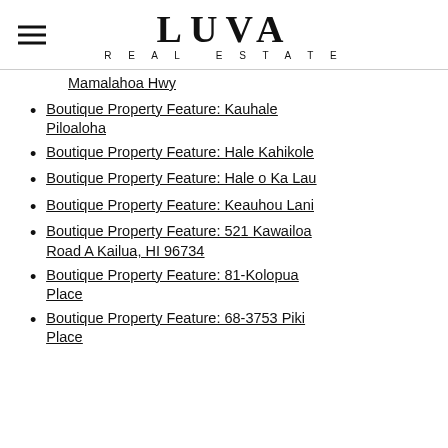[Figure (logo): LUVA REAL ESTATE logo with hamburger menu icon]
Mamalahoa Hwy
Boutique Property Feature: Kauhale Piloaloha
Boutique Property Feature: Hale Kahikole
Boutique Property Feature: Hale o Ka Lau
Boutique Property Feature: Keauhou Lani
Boutique Property Feature: 521 Kawailoa Road A Kailua, HI 96734
Boutique Property Feature: 81-Kolopua Place
Boutique Property Feature: 68-3753 Piki Place